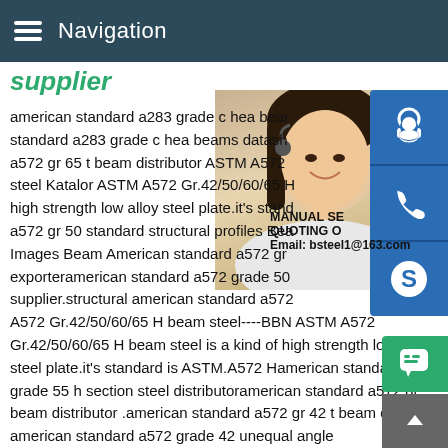Navigation
supplier
american standard a283 grade c hea beams standard a283 grade c hea beams datash a572 gr 65 t beam distributor ASTM A572 steel Katalor ASTM A572 Gr.42/50/60/65 H high strength low alloy steel plate.it's stand a572 gr 50 standard structural profiles Beam Images Beam American standard a572 gr exporteramerican standard a572 grade 50 supplier.structural american standard a572 A572 Gr.42/50/60/65 H beam steel----BBN ASTM A572 Gr.42/50/60/65 H beam steel is a kind of high strength low alloy steel plate.it's standard is ASTM.A572 Hamerican standard a572 grade 55 h section steel distributoramerican standard a572 gr beam distributor .american standard a572 gr 42 t beam distrib american standard a572 grade 42 unequal angle
MANUAL SE QUOTING O Email: bsteel1@163.com
[Figure (photo): Woman with headset, customer service representative, photo overlay on right side]
[Figure (infographic): Three blue icon buttons: headset/support, phone, Skype; plus green chat bubble and grey scroll-to-top button]